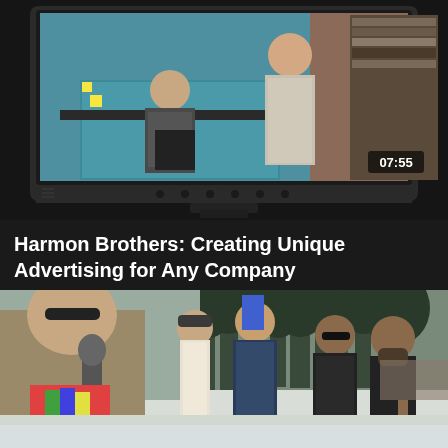[Figure (screenshot): Video thumbnail showing a TV screen displaying two women in an office setting with teal/blue furniture. Timestamp 07:55 shown in bottom right of thumbnail.]
Harmon Brothers: Creating Unique Advertising for Any Company
[Figure (photo): Outdoor winter scene with group of people standing in snow. Man in foreground wearing tan jacket holding microphone, another person raising fist holding blue item, trees in background.]